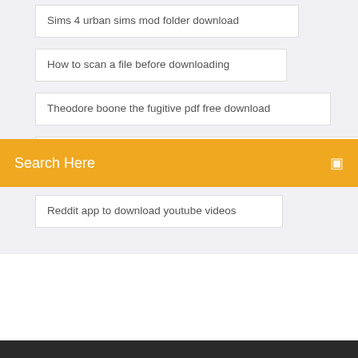Sims 4 urban sims mod folder download
How to scan a file before downloading
Theodore boone the fugitive pdf free download
Accounting information systems 14th edition pdf download
Search Here
Reddit app to download youtube videos